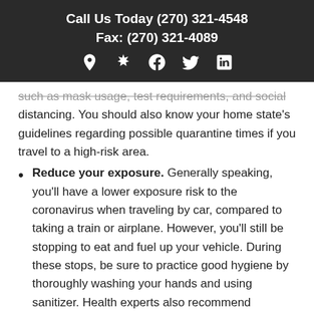Call Us Today (270) 321-4548
Fax: (270) 321-4089
such as mask usage, test requirements, and social distancing. You should also know your home state's guidelines regarding possible quarantine times if you travel to a high-risk area.
Reduce your exposure. Generally speaking, you'll have a lower exposure risk to the coronavirus when traveling by car, compared to taking a train or airplane. However, you'll still be stopping to eat and fuel up your vehicle. During these stops, be sure to practice good hygiene by thoroughly washing your hands and using sanitizer. Health experts also recommend wearing a mask when indoors (and